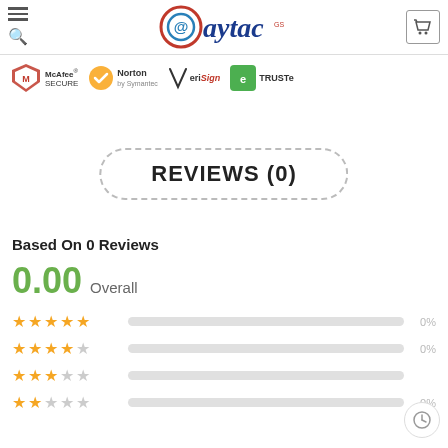@aytac
[Figure (logo): McAfee SECURE, Norton by Symantec, VeriSign, TRUSTe security badges]
REVIEWS (0)
Based On 0 Reviews
0.00 Overall
5 stars 0%
4 stars 0%
3 stars 0%
2 stars 0%